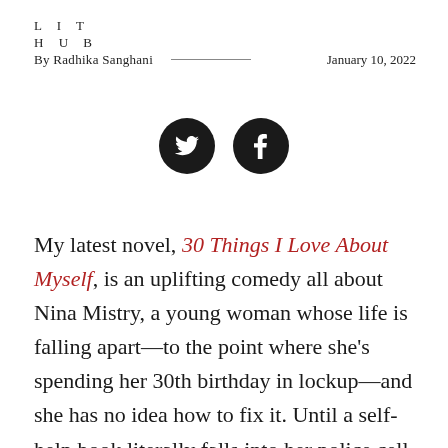LIT HUB
By Radhika Sanghani — January 10, 2022
[Figure (illustration): Two black circular social media icons: Twitter bird icon and Facebook 'f' icon]
My latest novel, 30 Things I Love About Myself, is an uplifting comedy all about Nina Mistry, a young woman whose life is falling apart—to the point where she's spending her 30th birthday in lockup—and she has no idea how to fix it. Until a self-help book literally falls into her police cell and sets her on a journey to fall in love… with herself.